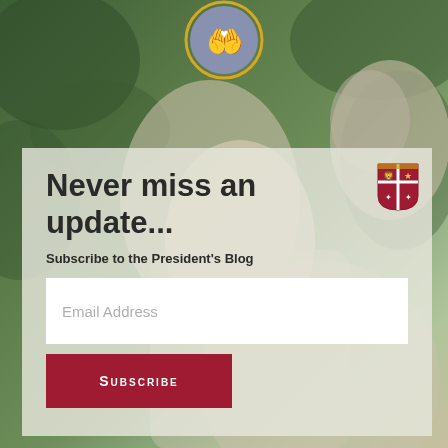[Figure (illustration): Background photo of a stone statue of a person in prayer with hands clasped, set against a green leafy background. A circular icon with hands holding a heart floats above, with a yellow ring border on a blue-grey circle.]
Never miss an update...
Subscribe to the President's Blog
[Figure (logo): University crest/shield logo in red and gold with cross and quadrant symbols]
Email Address
Subscribe